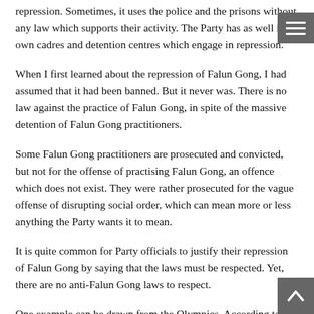repression. Sometimes, it uses the police and the prisons without any law which supports their activity. The Party has as well its own cadres and detention centres which engage in repression.
When I first learned about the repression of Falun Gong, I had assumed that it had been banned. But it never was. There is no law against the practice of Falun Gong, in spite of the massive detention of Falun Gong practitioners.
Some Falun Gong practitioners are prosecuted and convicted, but not for the offense of practising Falun Gong, an offence which does not exist. They were rather prosecuted for the vague offense of disrupting social order, which can mean more or less anything the Party wants it to mean.
It is quite common for Party officials to justify their repression of Falun Gong by saying that the laws must be respected. Yet, there are no anti-Falun Gong laws to respect.
One example can be drawn from the Olympics. According to an Associated Press report of November 8, 2007, Li Zhanyu...